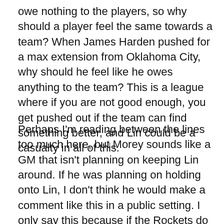owe nothing to the players, so why should a player feel the same towards a team? When James Harden pushed for a max extension from Oklahoma City, why should he feel like he owes anything to the team? This is a league where if you are not good enough, you get pushed out if the team can find something better, and Lin could be a casualty in all of this.
Perhaps I'm reading between the lines too much here, but Morey sounds like a GM that isn't planning on keeping Lin around. If he was planning on holding onto Lin, I don't think he would make a comment like this in a public setting. I only say this because if the Rockets do end up striking out on Anthony and go into the season with Lin on the roster, it could create a situation reminiscent of Kevin Martin post-veto where he knows he is not wanted by the team and feels personally